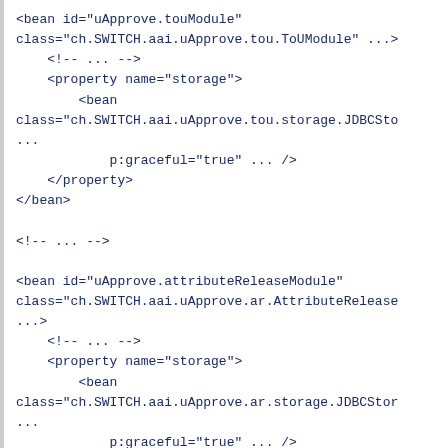[Figure (screenshot): XML/Spring bean configuration code snippet showing two bean definitions: uApprove.touModule with class ch.SWITCH.aai.uApprove.tou.ToUModule and storage property with JDBCSto... bean, and uApprove.attributeReleaseModule with class ch.SWITCH.aai.uApprove.ar.AttributeRelease... with storage property referencing JDBCStor... bean, both with p:graceful='true' attributes.]